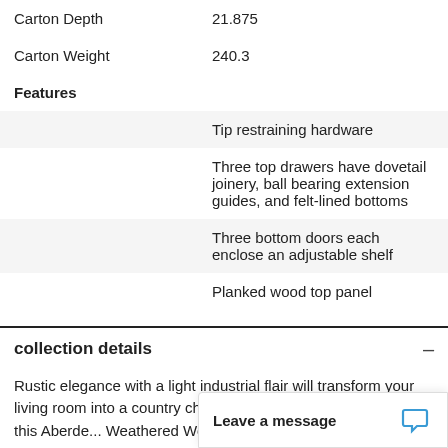| Carton Depth | 21.875 |
| Carton Weight | 240.3 |
Features
|  | Tip restraining hardware |
|  | Three top drawers have dovetail joinery, ball bearing extension guides, and felt-lined bottoms |
|  | Three bottom doors each enclose an adjustable shelf |
|  | Planked wood top panel |
collection details
Rustic elegance with a light industrial flair will transform your living room into a country chic sanctuary with the addition of this Aberde... Weathered Worn whit...